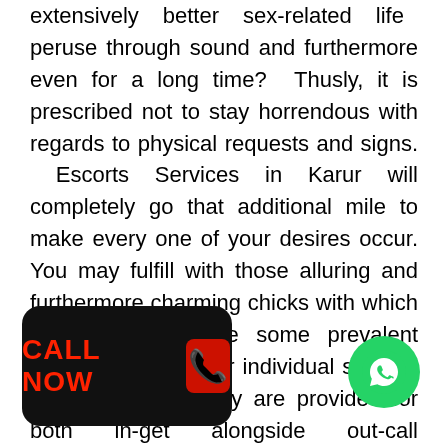extensively better sex-related life peruse through sound and furthermore even for a long time? Thusly, it is prescribed not to stay horrendous with regards to physical requests and signs. Escorts Services in Karur will completely go that additional mile to make every one of your desires occur. You may fulfill with those alluring and furthermore charming chicks with which you may contribute some prevalent time at the particular individual security if your space. They are provided for both in-get alongside out-call arrangement. Simply, disclose to us particularly exactly what your decisions are, in the event that you are bit specific focusing on innovation, articles of clothing or you intend to have something much additionally with respect to real appearance or body. In are visiting flexibly girls cular interest. Our master ionably appreciate to invest
[Figure (other): Black rounded rectangle button with red CALL NOW text and red phone icon on dark background]
[Figure (other): Green circular WhatsApp icon button]